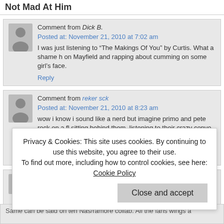Not Mad At Him
Comment from Dick B. Posted at: November 21, 2010 at 7:02 am
I was just listening to “The Makings Of You” by Curtis. What a shame h on Mayfield and rapping about cumming on some girl's face.
Reply
Comment from reker sck Posted at: November 21, 2010 at 8:23 am
wow i know i sound like a nerd but imagine primo and pete rock on a fl sitting behind them. listening to their crazy convo. so anyway from what primo is working with lots of big rappers ? jay? kanye? game? busta? we
Reply
Comment from Cam Posted at: November 21, 2010 at 12:04 pm
Privacy & Cookies: This site uses cookies. By continuing to use this website, you agree to their use.
To find out more, including how to control cookies, see here: Cookie Policy
Close and accept
Same can be said on teh Nas/ramore collab. All the fans wings a